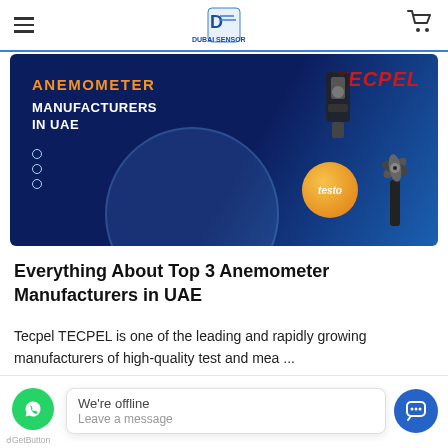Dubai Sensor — navigation header with hamburger menu and cart icon
[Figure (illustration): Banner image with dark blue background showing 'ANEMOMETER MANUFACTURERS IN UAE' in orange/white bold text on the left, TECPEL logo in red italic on the right, testo orange bubble logo, anemometer devices, and a light-blue decorative circle.]
Everything About Top 3 Anemometer Manufacturers in UAE
Tecpel TECPEL is one of the leading and rapidly growing manufacturers of high-quality test and mea ...
Read More
[Figure (screenshot): Bottom chat bar with WhatsApp green button, GetButton label, offline chat popup saying 'We're offline / Leave a message', and blue chat agent button.]